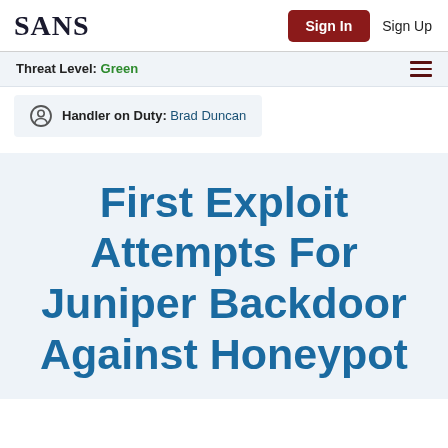SANS | Sign In | Sign Up
Threat Level: Green
Handler on Duty: Brad Duncan
First Exploit Attempts For Juniper Backdoor Against Honeypot